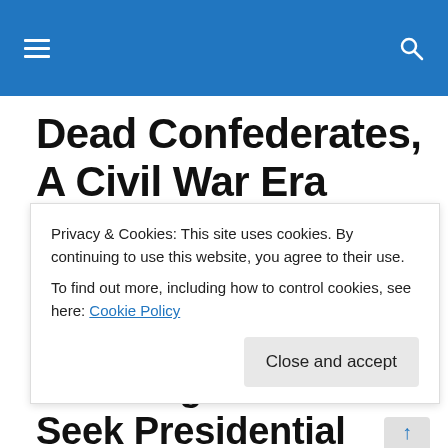Navigation menu and search
Dead Confederates, A Civil War Era Blog
"Partial quotes, contextual deception, & half-truths are like pot-holes on the path of knowledge."– Civil War Talk user Bee, March 28, 2016
H. K. Edgerton to Seek Presidential Pardon for Don
Privacy & Cookies: This site uses cookies. By continuing to use this website, you agree to their use.
To find out more, including how to control cookies, see here: Cookie Policy
Close and accept